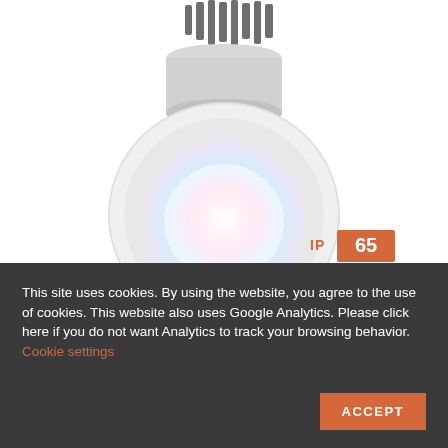[Figure (photo): White round LED downlight/spotlight with RGB color glow visible inside the reflector cup, heat sink fins visible at top, mounting connector hanging below. IP 65 and IK 11 rating badges shown to the right.]
[Figure (photo): Partial secondary strip showing smaller product images and text, partially visible at bottom of product area.]
This site uses cookies. By using the website, you agree to the use of cookies. This website also uses Google Analytics. Please click here if you do not want Analytics to track your browsing behavior. Cookie settings ACCEPT